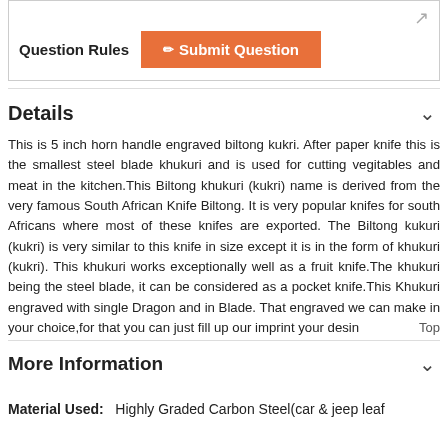[Figure (screenshot): Top box with Question Rules label and Submit Question orange button]
Details
This is 5 inch horn handle engraved biltong kukri. After paper knife this is the smallest steel blade khukuri and is used for cutting vegitables and meat in the kitchen.This Biltong khukuri (kukri) name is derived from the very famous South African Knife Biltong. It is very popular knifes for south Africans where most of these knifes are exported. The Biltong kukuri (kukri) is very similar to this knife in size except it is in the form of khukuri (kukri). This khukuri works exceptionally well as a fruit knife.The khukuri being the steel blade, it can be considered as a pocket knife.This Khukuri engraved with single Dragon and in Blade. That engraved we can make in your choice,for that you can just fill up our imprint your desing
More Information
Material Used:  Highly Graded Carbon Steel(car & jeep leaf